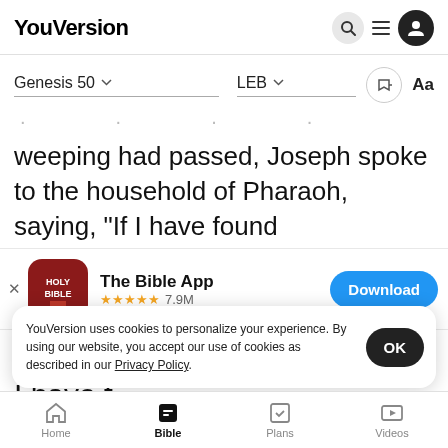YouVersion
Genesis 50 ▾   LEB ▾
weeping had passed, Joseph spoke to the household of Pharaoh, saying, “If I have found
[Figure (screenshot): The Bible App download banner with app icon (HOLY BIBLE), 5 stars, 7.9M ratings, and a Download button]
saying,
I have h
YouVersion uses cookies to personalize your experience. By using our website, you accept our use of cookies as described in our Privacy Policy.
Home   Bible   Plans   Videos